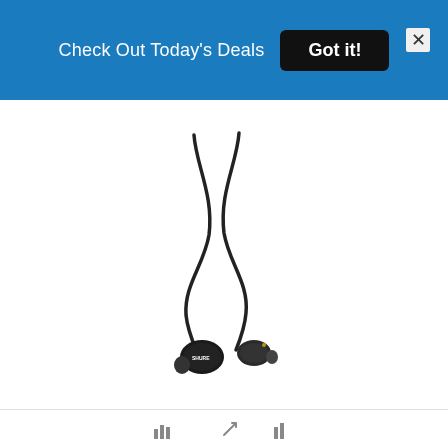Check Out Today's Deals  Got it!
[Figure (photo): Shure brand in-ear earphones/earbuds in black, with cables crossed forming an X shape, shown against a white background]